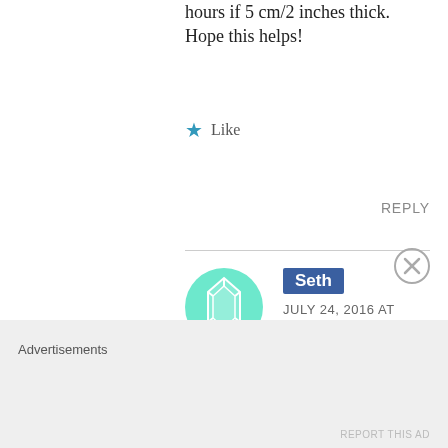hours if 5 cm/2 inches thick. Hope this helps!
★ Like
REPLY
Seth
JULY 24, 2016 AT 22:13
Thanks Stefan. Cooking it to 54.5C for 4 hours brought
Advertisements
REPORT THIS AD